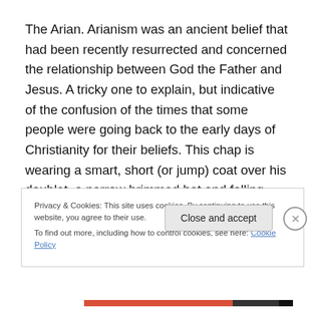The Arian. Arianism was an ancient belief that had been recently resurrected and concerned the relationship between God the Father and Jesus. A tricky one to explain, but indicative of the confusion of the times that some people were going back to the early days of Christianity for their beliefs. This chap is wearing a smart, short (or jump) coat over his doublet, a narrow brimmed hat and falling band.
Privacy & Cookies: This site uses cookies. By continuing to use this website, you agree to their use.
To find out more, including how to control cookies, see here: Cookie Policy
Close and accept